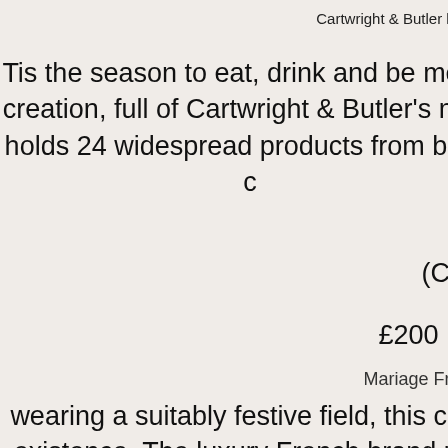Cartwright & Butler lu
Tis the season to eat, drink and be merry, creation, full of Cartwright & Butler's most holds 24 widespread products from biscu c
(Cartwr
£200 | Ca
Mariage Frères'
wearing a suitably festive field, this creati existence. The luxury French brand pres from probably the most world's most fu biscuits,
(Maria